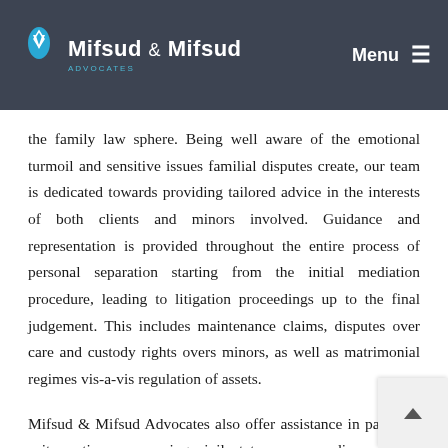Mifsud & Mifsud Advocates — Menu
the family law sphere. Being well aware of the emotional turmoil and sensitive issues familial disputes create, our team is dedicated towards providing tailored advice in the interests of both clients and minors involved. Guidance and representation is provided throughout the entire process of personal separation starting from the initial mediation procedure, leading to litigation proceedings up to the final judgement. This includes maintenance claims, disputes over care and custody rights overs minors, as well as matrimonial regimes vis-a-vis regulation of assets.
Mifsud & Mifsud Advocates also offer assistance in paternity suits, actions concerning civil status such as divorce, civil partnerships and annulment